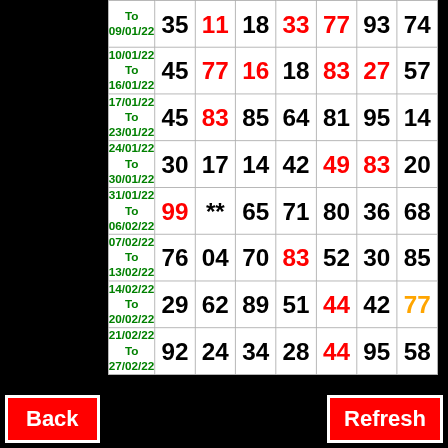| Date | N1 | N2 | N3 | N4 | N5 | N6 | N7 |
| --- | --- | --- | --- | --- | --- | --- | --- |
| To
09/01/22 | 35 | 11 | 18 | 33 | 77 | 93 | 74 |
| 10/01/22
To
16/01/22 | 45 | 77 | 16 | 18 | 83 | 27 | 57 |
| 17/01/22
To
23/01/22 | 45 | 83 | 85 | 64 | 81 | 95 | 14 |
| 24/01/22
To
30/01/22 | 30 | 17 | 14 | 42 | 49 | 83 | 20 |
| 31/01/22
To
06/02/22 | 99 | ** | 65 | 71 | 80 | 36 | 68 |
| 07/02/22
To
13/02/22 | 76 | 04 | 70 | 83 | 52 | 30 | 85 |
| 14/02/22
To
20/02/22 | 29 | 62 | 89 | 51 | 44 | 42 | 77 |
| 21/02/22
To
27/02/22 | 92 | 24 | 34 | 28 | 44 | 95 | 58 |